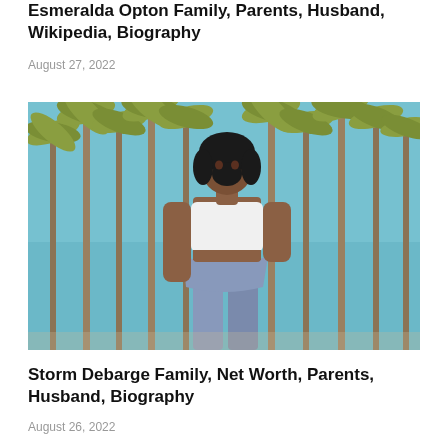Esmeralda Opton Family, Parents, Husband, Wikipedia, Biography
August 27, 2022
[Figure (photo): A young Black woman with curly hair wearing a white crop top and distressed denim skirt, standing in front of tall palm trees against a blue sky.]
Storm Debarge Family, Net Worth, Parents, Husband, Biography
August 26, 2022